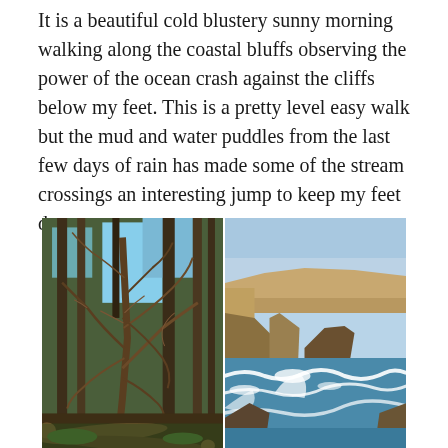It is a beautiful cold blustery sunny morning walking along the coastal bluffs observing the power of the ocean crash against the cliffs below my feet. This is a pretty level easy walk but the mud and water puddles from the last few days of rain has made some of the stream crossings an interesting jump to keep my feet dry.
[Figure (photo): Two side-by-side photographs. Left: gnarled dead tree with twisted bare branches among tall trees, with fallen logs on the ground. Right: dramatic coastal cliff landscape with crashing ocean waves, rocky sea stacks, and blue sky with haze.]